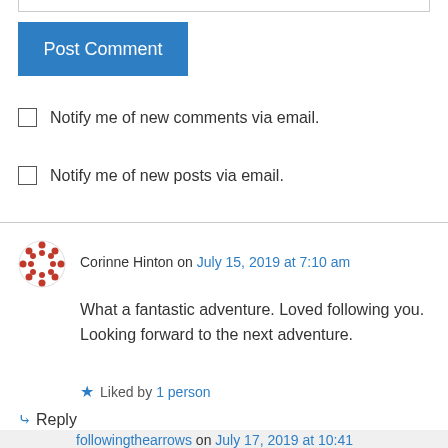[Figure (other): Post Comment button - blue rectangle with white text]
Notify me of new comments via email.
Notify me of new posts via email.
Corinne Hinton on July 15, 2019 at 7:10 am
What a fantastic adventure. Loved following you. Looking forward to the next adventure.
Liked by 1 person
↳ Reply
followingthearrows on July 17, 2019 at 10:41